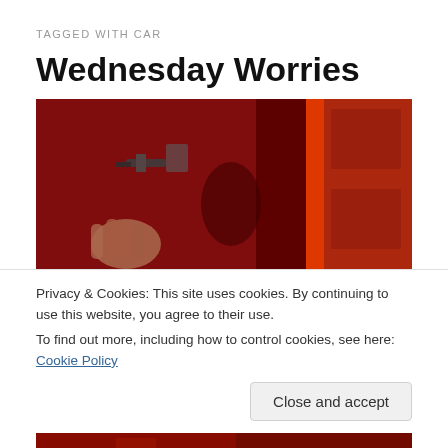TAGGED WITH CAR
Wednesday Worries
[Figure (photo): Dark red-toned photo of a door with handle and lock mechanism, with a bright vertical orange-red light strip on the right side, and a hand visible in the lower left]
Privacy & Cookies: This site uses cookies. By continuing to use this website, you agree to their use.
To find out more, including how to control cookies, see here: Cookie Policy
Close and accept
[Figure (photo): Bottom strip of another red-toned photo, partially visible]